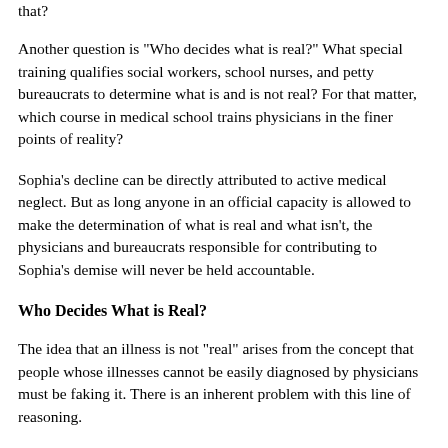that?
Another question is "Who decides what is real?" What special training qualifies social workers, school nurses, and petty bureaucrats to determine what is and is not real? For that matter, which course in medical school trains physicians in the finer points of reality?
Sophia's decline can be directly attributed to active medical neglect. But as long anyone in an official capacity is allowed to make the determination of what is real and what isn't, the physicians and bureaucrats responsible for contributing to Sophia's demise will never be held accountable.
Who Decides What is Real?
The idea that an illness is not "real" arises from the concept that people whose illnesses cannot be easily diagnosed by physicians must be faking it. There is an inherent problem with this line of reasoning.
With a few exceptions, mental illnesses are "all in your head." They are identified by their impact on the vicinity